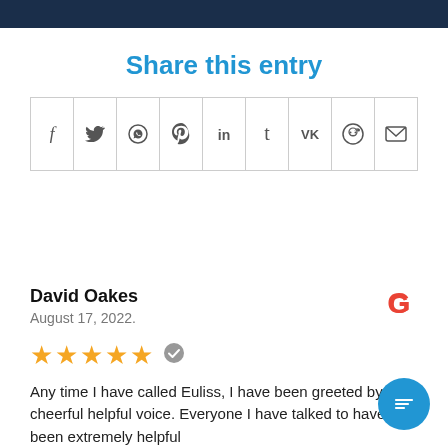[Figure (other): Dark navy header bar at top of page]
Share this entry
[Figure (other): Social sharing icons row: Facebook, Twitter, WhatsApp, Pinterest, LinkedIn, Tumblr, VK, Reddit, Email]
David Oakes
August 17, 2022.
[Figure (other): Google G logo]
[Figure (other): 5 gold stars with verified checkmark badge]
Any time I have called Euliss, I have been greeted by a cheerful helpful voice. Everyone I have talked to have been extremely helpful
[Figure (other): Blue circular chat button with message lines icon]